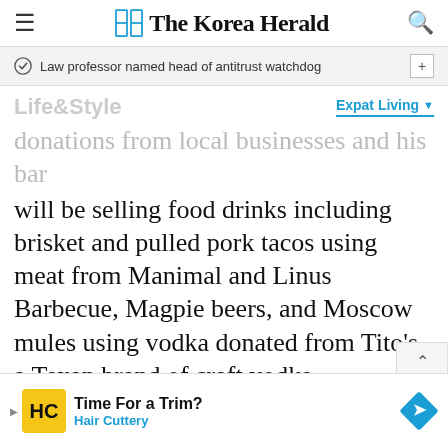The Korea Herald
Law professor named head of antitrust watchdog
Life&Style
Expat Living
donations from local businesses and his bar will be selling food drinks including brisket and pulled pork tacos using meat from Manimal and Linus Barbecue, Magpie beers, and Moscow mules using vodka donated from Tito's, a Texan brand of craft vodka.
[Figure (map): Google Maps screenshot showing a location pin near Lotte Plaza Market - Ashburn, with a school marker visible to the left]
[Figure (infographic): Advertisement: Time For a Trim? Hair Cuttery, with yellow HC logo and blue diamond arrow]